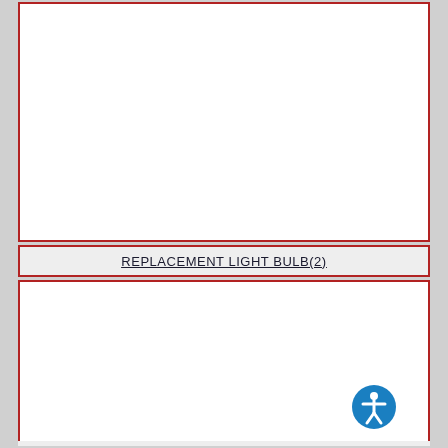[Figure (other): Empty white card with red border (top product image area)]
REPLACEMENT LIGHT BULB(2)
[Figure (other): Empty white card with red border (bottom product image area) with accessibility icon in lower right corner]